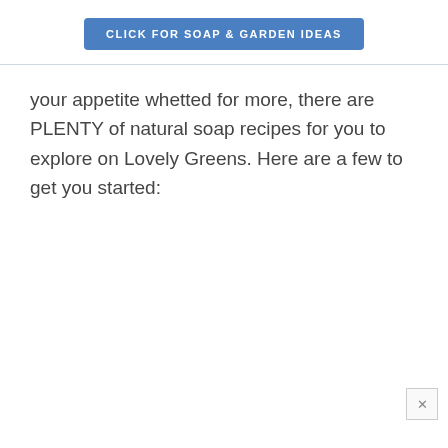[Figure (other): Blue rounded rectangle button with white uppercase text 'CLICK FOR SOAP & GARDEN IDEAS']
your appetite whetted for more, there are PLENTY of natural soap recipes for you to explore on Lovely Greens. Here are a few to get you started: